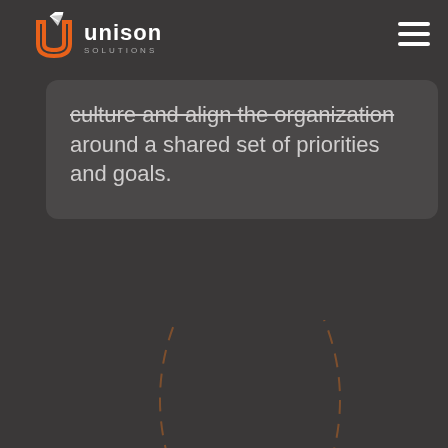[Figure (logo): Unison Solutions logo with paper airplane icon, white U lettermark, orange airplane, text 'unison' in white bold and 'SOLUTIONS' in gray small caps]
[Figure (illustration): Hamburger menu icon (three horizontal white lines) in top right corner]
culture and align the organization around a shared set of priorities and goals.
[Figure (illustration): Decorative dashed orange/brown curved circle outlines in lower portion of page background]